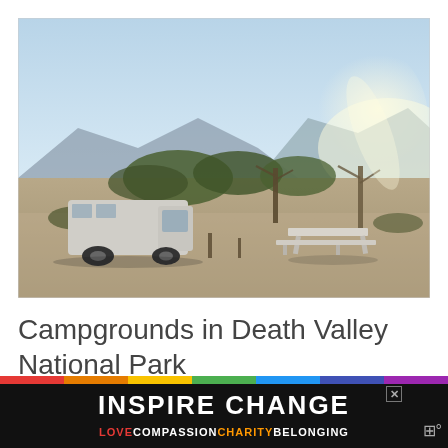[Figure (photo): A desert campground scene with a white van parked on the left, a picnic table in the center-right, sparse desert shrubs and trees in the background, and mountains visible under a hazy bright sky.]
Campgrounds in Death Valley National Park
Th... are of... October
[Figure (infographic): Advertisement banner: 'INSPIRE CHANGE' in large white bold text on black background with rainbow strip across the top, and subtitle 'LOVE COMPASSION CHARITY BELONGING' in colored text.]